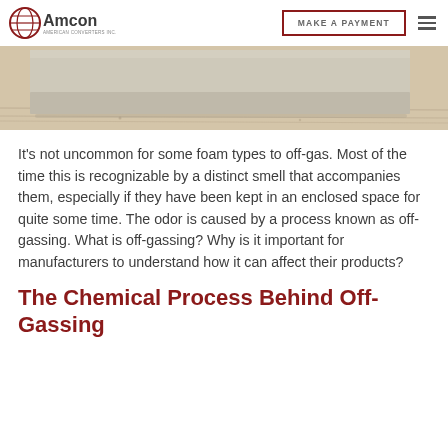Amcon — MAKE A PAYMENT
[Figure (photo): Close-up photograph of a flat foam block resting on a light wooden surface, showing the light beige/grey foam material from a side angle.]
It's not uncommon for some foam types to off-gas. Most of the time this is recognizable by a distinct smell that accompanies them, especially if they have been kept in an enclosed space for quite some time. The odor is caused by a process known as off-gassing. What is off-gassing? Why is it important for manufacturers to understand how it can affect their products?
The Chemical Process Behind Off-Gassing